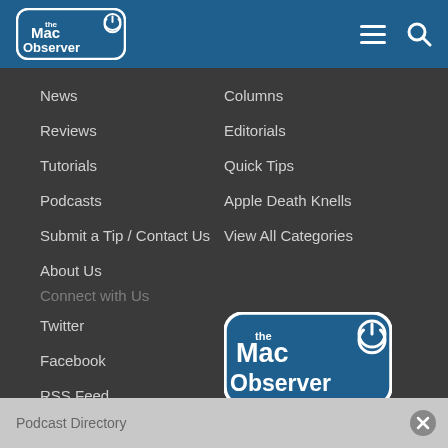[Figure (logo): The Mac Observer logo in header bar]
News
Columns
Reviews
Editorials
Tutorials
Quick Tips
Podcasts
Apple Death Knells
Submit a Tip / Contact Us
View All Categories
About Us
Connect with Us
Twitter
Facebook
RSS Feed
[Figure (logo): The Mac Observer large logo in footer area]
Podcast Directory